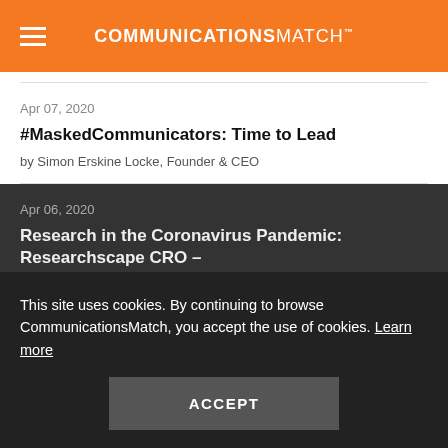COMMUNICATIONSMATCH™
Apr 07, 2020
#MaskedCommunicators: Time to Lead
by Simon Erskine Locke, Founder & CEO
Apr 06, 2020
Research in the Coronavirus Pandemic: Researchscape CRO – Different Ap
Apr 02, 2020
Pulling Together: New Ways We Can Help Communicators
by Simon Erskine Locke, Founder & CEO
This site uses cookies. By continuing to browse CommunicationsMatch, you accept the use of cookies. Learn more
ACCEPT